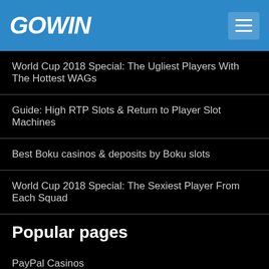GOWIN
World Cup 2018 Special: The Ugliest Players With The Hottest WAGs
Guide: High RTP Slots & Return to Player Slot Machines
Best Boku casinos & deposits by Boku slots
World Cup 2018 Special: The Sexiest Player From Each Squad
Popular pages
PayPal Casinos
NetEnt Casinos
BitCoin Casinos
Pay by Phone Casinos